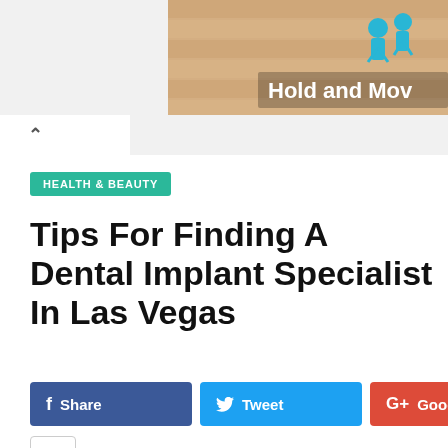[Figure (screenshot): Advertisement banner showing wooden background with cartoon figures and text 'Hold and Mov']
[Figure (screenshot): Browser tab navigation indicator with chevron up arrow]
HEALTH & BEAUTY
Tips For Finding A Dental Implant Specialist In Las Vegas
[Figure (infographic): Social sharing buttons: Facebook Share, Twitter Tweet, Google+ Google+, and a plus (+) button]
It might seem painful to implant teeth, but if